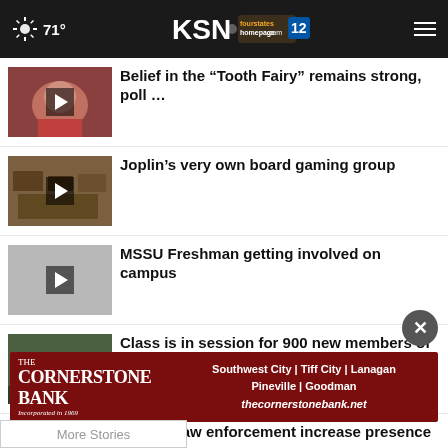71° KSN fourstates homepage.com 12
Belief in the “Tooth Fairy” remains strong, poll …
Joplin’s very own board gaming group
MSSU Freshman getting involved on campus
Class is in session for 900 new members of Gorilla …
Kansas law enforcement increase presence for Labor …
[Figure (other): Advertisement for The Cornerstone Bank listing locations: Southwest City | Tiff City | Lanagan, Pineville | Goodman, thecornerstonebank.net]
More Stories